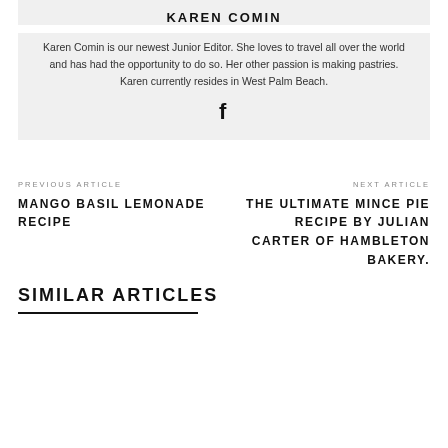KAREN COMIN
Karen Comin is our newest Junior Editor. She loves to travel all over the world and has had the opportunity to do so. Her other passion is making pastries. Karen currently resides in West Palm Beach.
[Figure (illustration): Facebook social media icon (letter f)]
PREVIOUS ARTICLE
MANGO BASIL LEMONADE RECIPE
NEXT ARTICLE
THE ULTIMATE MINCE PIE RECIPE BY JULIAN CARTER OF HAMBLETON BAKERY.
SIMILAR ARTICLES